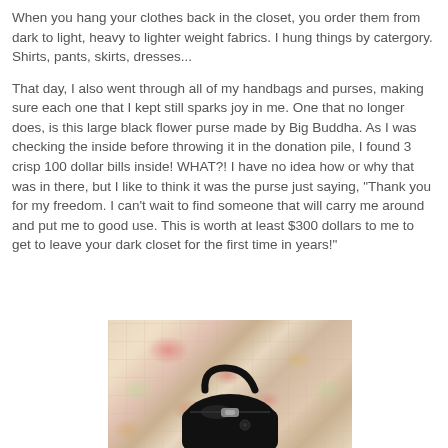When you hang your clothes back in the closet, you order them from dark to light, heavy to lighter weight fabrics.  I hung things by catergory.  Shirts, pants, skirts, dresses...
That day, I also went through all of my handbags and purses, making sure each one that I kept still sparks joy in me.  One that no longer does, is this large black flower purse made by Big Buddha.  As I was checking the inside before throwing it in the donation pile, I found 3 crisp 100 dollar bills inside!  WHAT?!  I have no idea how or why that was in there, but I like to think it was the purse just saying, "Thank you for my freedom.  I can't wait to find someone that will carry me around and put me to good use. This is worth at least $300 dollars to me to get to leave your dark closet for the first time in years!"
[Figure (photo): A black handbag/purse with handles photographed against a colorful floral quilted fabric background]